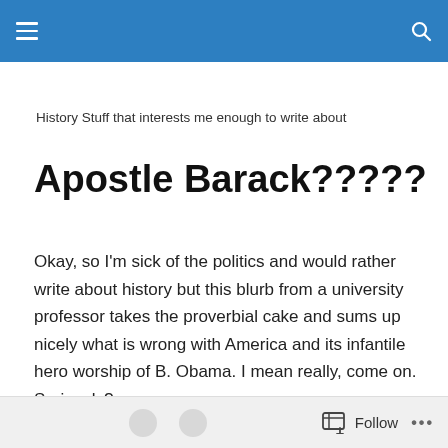Navigation header bar with hamburger menu and search icon
History Stuff that interests me enough to write about
Apostle Barack?????
Okay, so I'm sick of the politics and would rather write about history but this blurb from a university professor takes the proverbial cake and sums up nicely what is wrong with America and its infantile hero worship of B. Obama. I mean really, come on. Seriously?
Follow